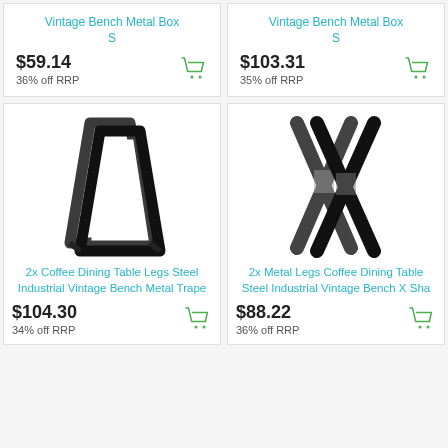Vintage Bench Metal Box S
$59.14
36% off RRP
Vintage Bench Metal Box S
$103.31
35% off RRP
[Figure (photo): Two trapezoidal black steel table/bench legs shown side by side]
2x Coffee Dining Table Legs Steel Industrial Vintage Bench Metal Trape
$104.30
34% off RRP
[Figure (photo): Two X-shaped black metal table/bench legs crossed]
2x Metal Legs Coffee Dining Table Steel Industrial Vintage Bench X Sha
$88.22
36% off RRP